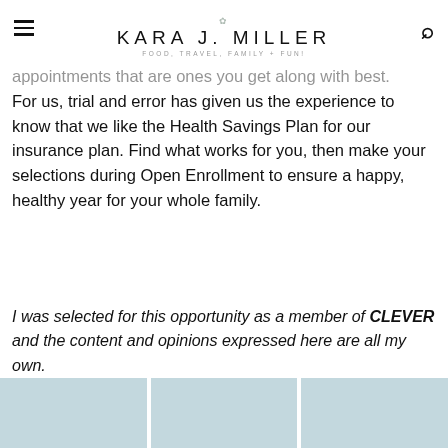KARA J. MILLER
FOOD, TRAVEL, FAMILY + FUN!
appointments that are ones you get along with best. For us, trial and error has given us the experience to know that we like the Health Savings Plan for our insurance plan. Find what works for you, then make your selections during Open Enrollment to ensure a happy, healthy year for your whole family.
I was selected for this opportunity as a member of CLEVER and the content and opinions expressed here are all my own.
[Figure (photo): Three thumbnail images in light blue/teal color at the bottom of the page]